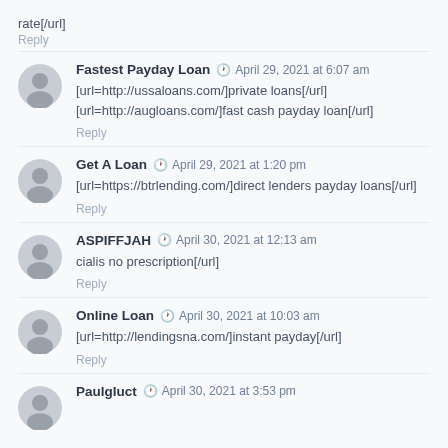rate[/url]
Reply
Fastest Payday Loan  April 29, 2021 at 6:07 am
[url=http://ussaloans.com/]private loans[/url] [url=http://augloans.com/]fast cash payday loan[/url]
Reply
Get A Loan  April 29, 2021 at 1:20 pm
[url=https://btrlending.com/]direct lenders payday loans[/url]
Reply
ASPIFFJAH  April 30, 2021 at 12:13 am
cialis no prescription[/url]
Reply
Online Loan  April 30, 2021 at 10:03 am
[url=http://lendingsna.com/]instant payday[/url]
Reply
Paulgluct  April 30, 2021 at 3:53 pm